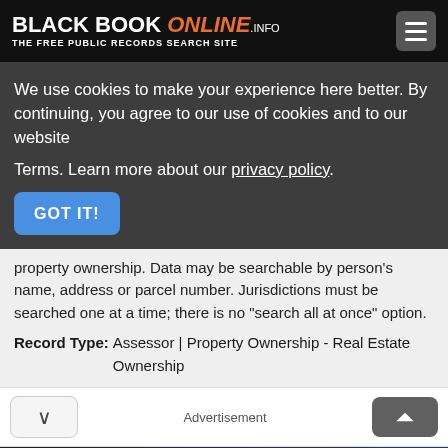BLACK BOOK ONLINE .INFO — THE FREE PUBLIC RECORDS SEARCH SITE
We use cookies to make your experience here better. By continuing, you agree to our use of cookies and to our website Terms. Learn more about our privacy policy.
property ownership. Data may be searchable by person's name, address or parcel number. Jurisdictions must be searched one at a time; there is no "search all at once" option.
Record Type: Assessor | Property Ownership - Real Estate Ownership
Advertisement
Download Helbiz and ride